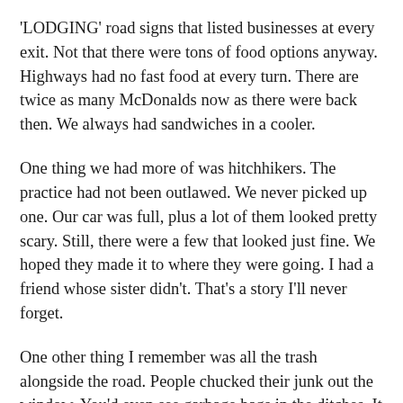'LODGING' road signs that listed businesses at every exit. Not that there were tons of food options anyway. Highways had no fast food at every turn. There are twice as many McDonalds now as there were back then. We always had sandwiches in a cooler.
One thing we had more of was hitchhikers. The practice had not been outlawed. We never picked up one. Our car was full, plus a lot of them looked pretty scary. Still, there were a few that looked just fine. We hoped they made it to where they were going. I had a friend whose sister didn't. That's a story I'll never forget.
One other thing I remember was all the trash alongside the road. People chucked their junk out the window. You'd even see garbage bags in the ditches. It was just plain gross. The Crying Indian changed all that. If you don't know about this American icon, here is a commercial: